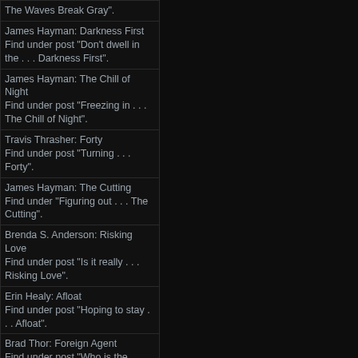| The Waves Break Gray". |
| James Hayman: Darkness First
Find under post "Don't dwell in the . . . Darkness First". |
| James Hayman: The Chill of Night
Find under post "Freezing in . . . The Chill of Night". |
| Travis Thrasher: Forty
Find under post "Turning . . . Forty". |
| James Hayman: The Cutting
Find under "Figuring out . . . The Cutting". |
| Brenda S. Anderson: Risking Love
Find under post "Is it really . . . Risking Love". |
| Erin Healy: Afloat
Find under post "Hoping to stay . . . Afloat". |
| Brad Thor: Foreign Agent
Find under post "Who is the . . . Foreign Agent?" |
| Brad Thor: Takedown
Find under post "An incomplete . . . Takedown". |
| Joseph Courtemanche: Assault on St. Agnes
Find under post "Rescued from the . . . Assault on St. Agnes". |
| Michelle Massaro: Grace in the Flames
Find under post "Realizing the . . . Grace in the Flames". |